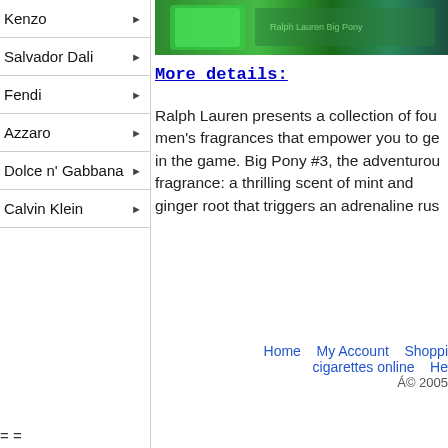Kenzo ▶
Salvador Dali ▶
Fendi ▶
Azzaro ▶
Dolce n' Gabbana ▶
Calvin Klein ▶
[Figure (photo): Green Ralph Lauren Big Pony #3 fragrance bottle product image strip]
More details:
Ralph Lauren presents a collection of fou men's fragrances that empower you to ge in the game. Big Pony #3, the adventurou fragrance: a thrilling scent of mint and ginger root that triggers an adrenaline rus
Home  My Account  Shoppi cigarettes online  He © 2005